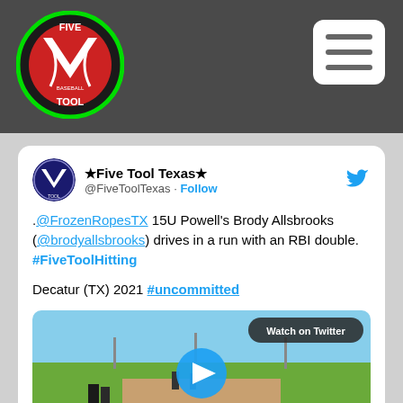Five Tool Baseball - header bar with logo and hamburger menu
[Figure (logo): Five Tool Baseball circular logo with green border on dark background]
[Figure (infographic): White rounded rectangle hamburger menu icon with three horizontal lines]
★Five Tool Texas★ @FiveToolTexas · Follow
.@FrozenRopesTX 15U Powell's Brody Allsbrooks (@brodyallsbrooks) drives in a run with an RBI double. #FiveToolHitting

Decatur (TX) 2021 #uncommitted
[Figure (screenshot): Video thumbnail of a baseball game with Watch on Twitter badge and play button overlay]